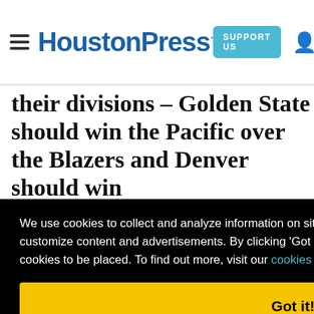HoustonPress | SUPPORT US
their divisions – Golden State should win the Pacific over the Blazers and Denver should win
We use cookies to collect and analyze information on site performance and usage, and to enhance and customize content and advertisements. By clicking 'Got it' or continuing to use the site, you agree to allow cookies to be placed. To find out more, visit our cookies policy and our privacy policy.
Got it!
se the teams have been, particularly recently, a the